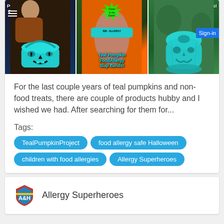[Figure (photo): Three-panel image strip showing teal pumpkin Halloween items: left panel shows a teal pumpkin bucket with jack-o-lantern face, middle panel shows a teal food allergy slap band on a wrist, right panel shows a teal leaf bag with jack-o-lantern face. Labels read: 'Pumpkin Bucket!', 'Teal Pumpkin FoodAllergy Slap Bands!', 'Leaf Bags!']
For the last couple years of teal pumpkins and non-food treats, there are couple of products hubby and I wished we had. After searching for them for...
Tags:
TealPumpkinProject
food allergy safe Halloween
children with food allergies
Allergy Superheroes
[Figure (logo): Allergy Superheroes shield logo with 'A&H' text]
Allergy Superheroes